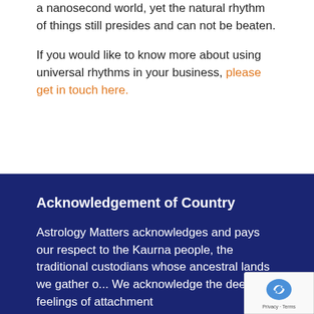a nanosecond world, yet the natural rhythm of things still presides and can not be beaten.
If you would like to know more about using universal rhythms in your business, please get in touch here.
Acknowledgement of Country
Astrology Matters acknowledges and pays our respect to the Kaurna people, the traditional custodians whose ancestral lands we gather o... We acknowledge the deep feelings of attachment